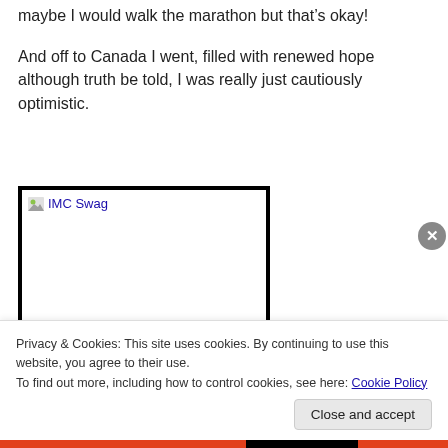maybe I would walk the marathon but that's okay!
And off to Canada I went, filled with renewed hope although truth be told, I was really just cautiously optimistic.
[Figure (photo): Image placeholder labeled 'IMC Swag' with a small icon and text, inside a thick black border frame]
Privacy & Cookies: This site uses cookies. By continuing to use this website, you agree to their use.
To find out more, including how to control cookies, see here: Cookie Policy
Close and accept